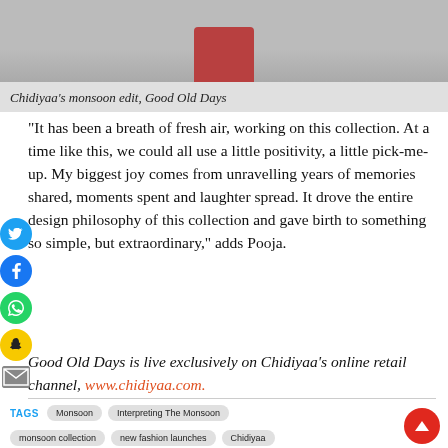[Figure (photo): Top portion of a fashion photo showing stacked red/coral buckets or cups on a grey surface, feet visible at top, partial crop]
Chidiyaa's monsoon edit, Good Old Days
"It has been a breath of fresh air, working on this collection. At a time like this, we could all use a little positivity, a little pick-me-up. My biggest joy comes from unravelling years of memories shared, moments spent and laughter spread. It drove the entire design philosophy of this collection and gave birth to something so simple, but extraordinary," adds Pooja.
Good Old Days is live exclusively on Chidiyaa's online retail channel, www.chidiyaa.com.
TAGS  Monsoon  Interpreting The Monsoon  monsoon collection  new fashion launches  Chidiyaa